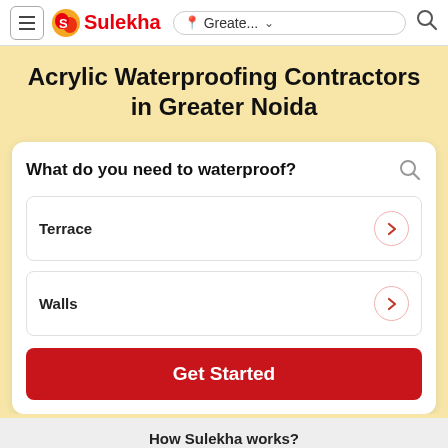≡ Sulekha | Greate... ∨ | 🔍
Acrylic Waterproofing Contractors in Greater Noida
What do you need to waterproof?
Terrace
Walls
Get Started
How Sulekha works?
1  2  3